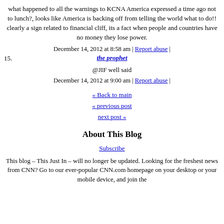what happened to all the warnings to KCNA America expressed a time ago not to lunch?, looks like America is backing off from telling the world what to do!! clearly a sign related to financial cliff, its a fact when people and countries have no money they lose power.
December 14, 2012 at 8:58 am | Report abuse |
15. the prophet
@JIF well said
December 14, 2012 at 9:00 am | Report abuse |
« Back to main
« previous post
next post »
About This Blog
Subscribe
This blog – This Just In – will no longer be updated. Looking for the freshest news from CNN? Go to our ever-popular CNN.com homepage on your desktop or your mobile device, and join the